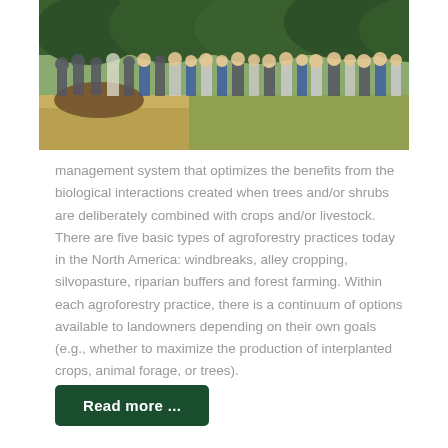[Figure (photo): A group of people standing outdoors near trees and shrubs, appearing to attend an agroforestry field tour or demonstration.]
management system that optimizes the benefits from the biological interactions created when trees and/or shrubs are deliberately combined with crops and/or livestock. There are five basic types of agroforestry practices today in the North America: windbreaks, alley cropping, silvopasture, riparian buffers and forest farming. Within each agroforestry practice, there is a continuum of options available to landowners depending on their own goals (e.g., whether to maximize the production of interplanted crops, animal forage, or trees).
Read more ...